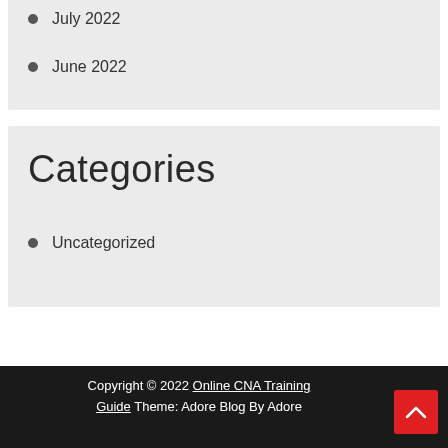July 2022
June 2022
Categories
Uncategorized
Copyright © 2022 Online CNA Training Guide Theme: Adore Blog By Adore